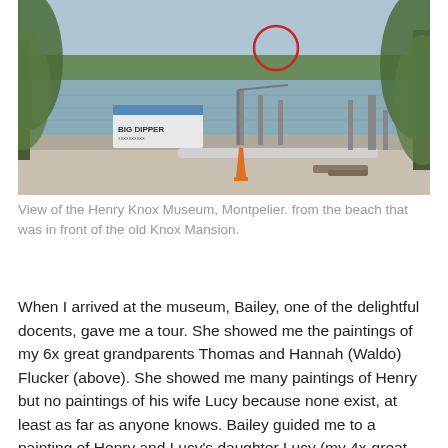[Figure (photo): Outdoor daytime photograph showing a waterfront scene with a boat labeled 'BIG DIPPER', industrial equipment and cranes in the background, a river or lake with green hills on the far shore, willow tree branches framing the left and right sides, and an orange traffic cone in the foreground. A red circle is drawn on the image highlighting something on the far shore.]
View of the Henry Knox Museum, Montpelier. from the beach that was in front of the old Knox Mansion.
When I arrived at the museum, Bailey, one of the delightful docents, gave me a tour. She showed me the paintings of my 6x great grandparents Thomas and Hannah (Waldo) Flucker (above). She showed me many paintings of Henry but no paintings of his wife Lucy because none exist, at least as far as anyone knows. Bailey guided me to a painting of Henry and Lucy's daughter Lucy (my 4x-great grandmother, and one of only three of Henry and Lucy's